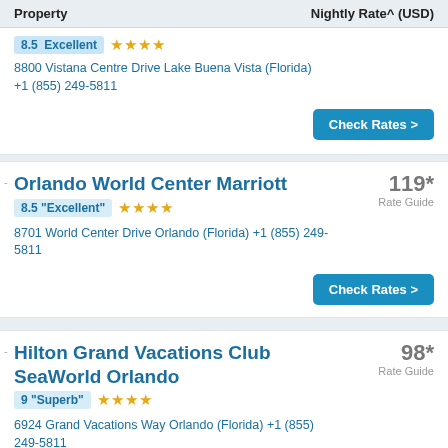Property | Nightly Rate^ (USD)
8.5 Excellent ★★★★ | 8800 Vistana Centre Drive Lake Buena Vista (Florida) +1 (855) 249-5811
Orlando World Center Marriott | 119* Rate Guide | 8.5 "Excellent" ★★★★ | 8701 World Center Drive Orlando (Florida) +1 (855) 249-5811
Hilton Grand Vacations Club SeaWorld Orlando | 98* Rate Guide | 9 "Superb" ★★★★ | 6924 Grand Vacations Way Orlando (Florida) +1 (855) 249-5811